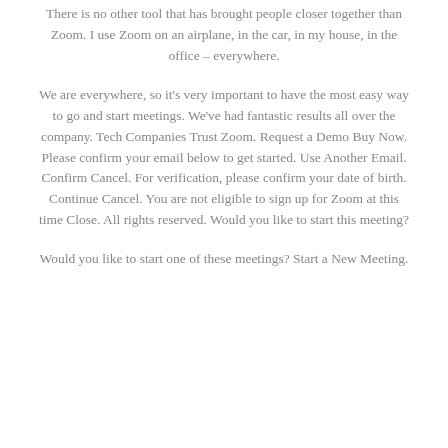There is no other tool that has brought people closer together than Zoom. I use Zoom on an airplane, in the car, in my house, in the office – everywhere.
We are everywhere, so it's very important to have the most easy way to go and start meetings. We've had fantastic results all over the company. Tech Companies Trust Zoom. Request a Demo Buy Now. Please confirm your email below to get started. Use Another Email. Confirm Cancel. For verification, please confirm your date of birth. Continue Cancel. You are not eligible to sign up for Zoom at this time Close. All rights reserved. Would you like to start this meeting?
Would you like to start one of these meetings? Start a New Meeting.